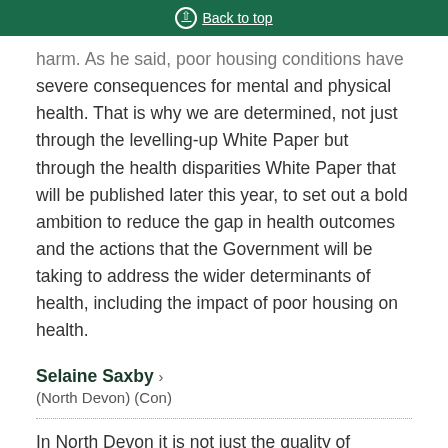Back to top
harm. As he said, poor housing conditions have severe consequences for mental and physical health. That is why we are determined, not just through the levelling-up White Paper but through the health disparities White Paper that will be published later this year, to set out a bold ambition to reduce the gap in health outcomes and the actions that the Government will be taking to address the wider determinants of health, including the impact of poor housing on health.
Selaine Saxby > (North Devon) (Con)
In North Devon it is not just the quality of housing that is causing health issues but the lack of